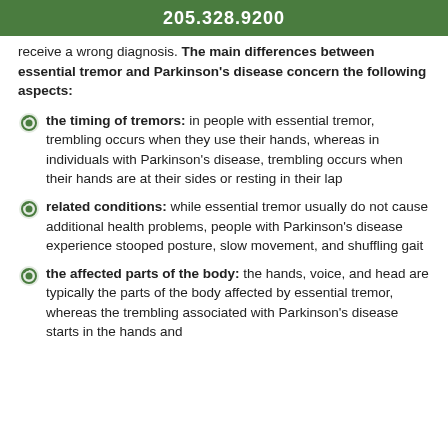205.328.9200
receive a wrong diagnosis. The main differences between essential tremor and Parkinson's disease concern the following aspects:
the timing of tremors: in people with essential tremor, trembling occurs when they use their hands, whereas in individuals with Parkinson's disease, trembling occurs when their hands are at their sides or resting in their lap
related conditions: while essential tremor usually do not cause additional health problems, people with Parkinson's disease experience stooped posture, slow movement, and shuffling gait
the affected parts of the body: the hands, voice, and head are typically the parts of the body affected by essential tremor, whereas the trembling associated with Parkinson's disease starts in the hands and